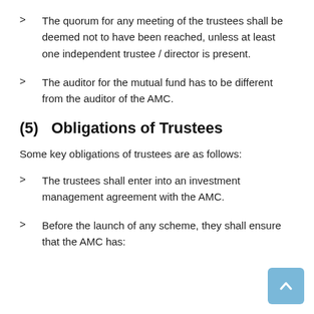> The quorum for any meeting of the trustees shall be deemed not to have been reached, unless at least one independent trustee / director is present.
> The auditor for the mutual fund has to be different from the auditor of the AMC.
(5) Obligations of Trustees
Some key obligations of trustees are as follows:
> The trustees shall enter into an investment management agreement with the AMC.
> Before the launch of any scheme, they shall ensure that the AMC has: